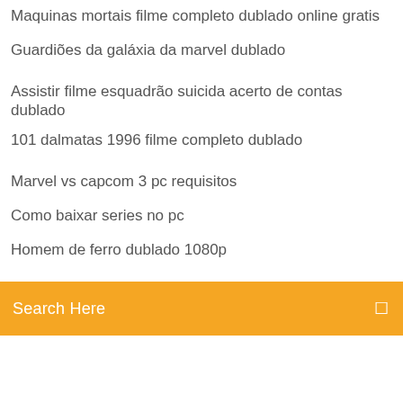Maquinas mortais filme completo dublado online gratis
Guardiões da galáxia da marvel dublado
Assistir filme esquadrão suicida acerto de contas dublado
101 dalmatas 1996 filme completo dublado
Marvel vs capcom 3 pc requisitos
Como baixar series no pc
Homem de ferro dublado 1080p
[Figure (screenshot): Orange search bar with text 'Search Here' and a search icon on the right]
Logan filme download mega
Livro infantil a festa no céu
Assistir espelhos do medo 2
Segundo ep game of thrones 8 temporada
A esperança parte 2 assistir online gratis
A way out pc download ocean of games
Assistir online o fazendeiro e deus dublado
Palco eletrônico rock in rio 2019
A nona vida de louis drax critica
Baixar smallville 2 temporada dublado mp4 mega